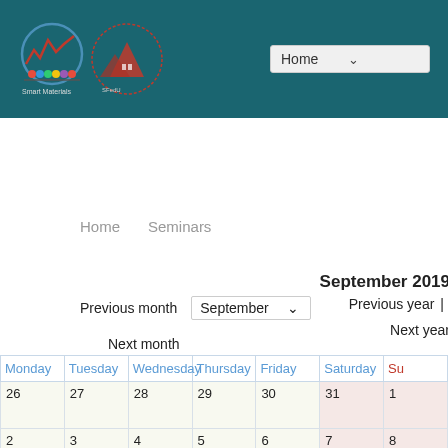[Figure (logo): Smart Materials lab logo (oval with red graph and colored spheres) and Southern Federal University logo (red mountain/building emblem with circular text)]
[Figure (screenshot): Navigation dropdown showing 'Home' with chevron arrow]
Home    Seminars
September 2019
Previous month    September ▾
Previous year  |
Next month
Next year
| Monday | Tuesday | Wednesday | Thursday | Friday | Saturday | Su |
| --- | --- | --- | --- | --- | --- | --- |
| 26 | 27 | 28 | 29 | 30 | 31 | 1 |
| 2
16:00
Summer Report | 3 | 4 | 5 | 6 | 7 | 8 |